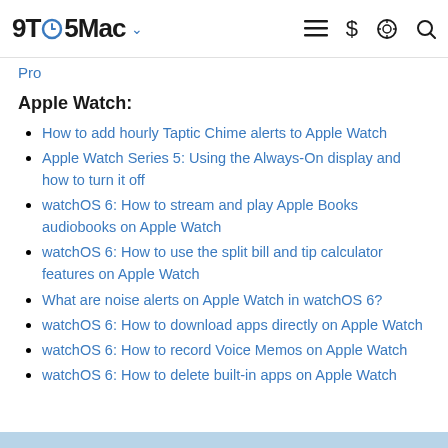9TO5Mac
Pro
Apple Watch:
How to add hourly Taptic Chime alerts to Apple Watch
Apple Watch Series 5: Using the Always-On display and how to turn it off
watchOS 6: How to stream and play Apple Books audiobooks on Apple Watch
watchOS 6: How to use the split bill and tip calculator features on Apple Watch
What are noise alerts on Apple Watch in watchOS 6?
watchOS 6: How to download apps directly on Apple Watch
watchOS 6: How to record Voice Memos on Apple Watch
watchOS 6: How to delete built-in apps on Apple Watch